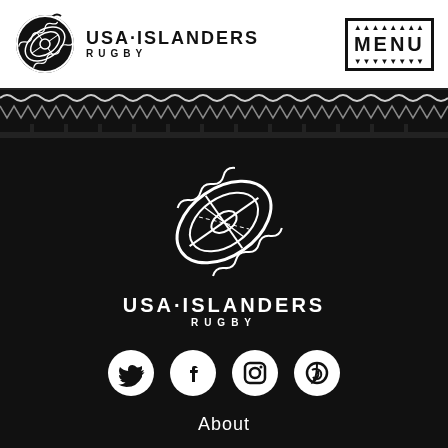[Figure (logo): USA Islanders Rugby logo in header - circular Polynesian-style rugby ball emblem, black on white, with text USA·ISLANDERS / RUGBY beside it]
[Figure (logo): MENU button with Polynesian triangle decorations above and below, bordered box, top-right of header]
[Figure (illustration): Decorative Polynesian/tribal pattern band across full width - wave and triangle motifs in black]
[Figure (logo): Large USA Islanders Rugby white logo centered on black background - detailed Polynesian rugby ball emblem]
USA·ISLANDERS RUGBY
[Figure (illustration): Social media icons: Twitter, Facebook, Instagram, Pinterest - all white circles on black background]
About